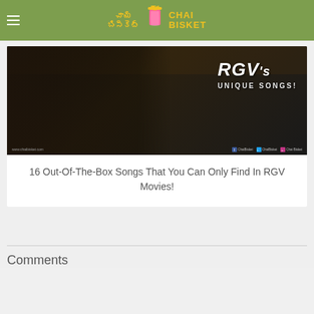Chai Bisket
[Figure (photo): RGV (Ram Gopal Varma) close-up face photo with text overlay reading RGV's UNIQUE SONGS! on a dark background with crowd silhouettes. Website watermark www.chaibisket.com at bottom left, social media icons at bottom right.]
16 Out-Of-The-Box Songs That You Can Only Find In RGV Movies!
Comments